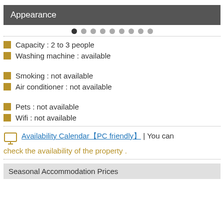Appearance
[Figure (other): Row of 9 dots (pagination indicator): first dot dark, remaining 8 dots light gray, with a dotted underline]
Capacity : 2 to 3 people
Washing machine : available
Smoking : not available
Air conditioner : not available
Pets : not available
Wifi : not available
Availability Calendar【PC friendly】 | You can check the availability of the property .
Seasonal Accommodation Prices